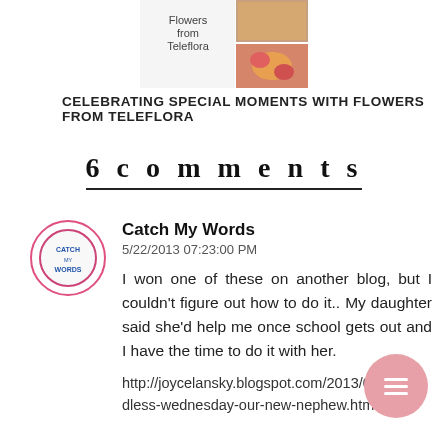[Figure (photo): Small collage of flower images with text 'Flowers from Teleflora']
CELEBRATING SPECIAL MOMENTS WITH FLOWERS FROM TELEFLORA
6 comments
[Figure (photo): Circular avatar image for 'Catch My Words' blog with pink border]
Catch My Words
5/22/2013 07:23:00 PM
I won one of these on another blog, but I couldn't figure out how to do it.. My daughter said she'd help me once school gets out and I have the time to do it with her.
http://joycelansky.blogspot.com/2013/05/wordless-wednesday-our-new-nephew.html